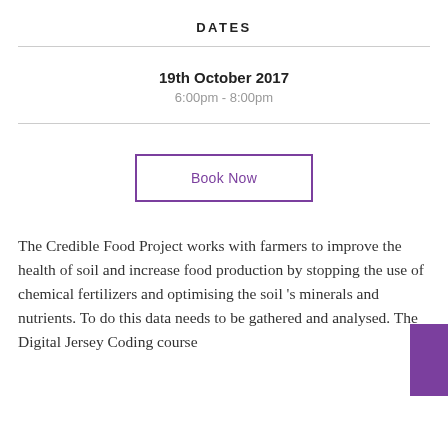DATES
19th October 2017
6:00pm - 8:00pm
Book Now
The Credible Food Project works with farmers to improve the health of soil and increase food production by stopping the use of chemical fertilizers and optimising the soil 's minerals and nutrients. To do this data needs to be gathered and analysed. The Digital Jersey Coding course